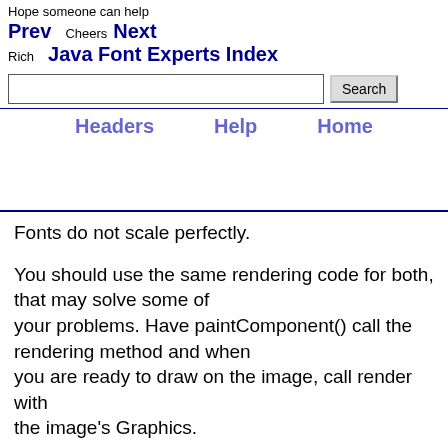Prev  Next  Java Font Experts Index  Headers  Help  Home
Fonts do not scale perfectly.

You should use the same rendering code for both, that may solve some of your problems. Have paintComponent() call the rendering method and when you are ready to draw on the image, call render with the image's Graphics.

--

Knute Johnson
email s/nospam/knute2008/

--
Posted via NewsDemon.com - Premium Uncensored Newsgroup Service
        --------
>>>>>>http://www.NewsDemon.com<<<<<<-------
Unlimited Access, Anonymous Accountable Usenet...